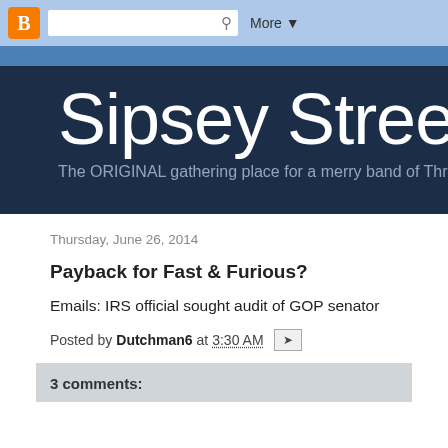Blogger navbar with search and More
Sipsey Street Ir
The ORIGINAL gathering place for a merry band of Thre
Thursday, June 26, 2014
Payback for Fast & Furious?
Emails: IRS official sought audit of GOP senator
Posted by Dutchman6 at 3:30 AM
3 comments: